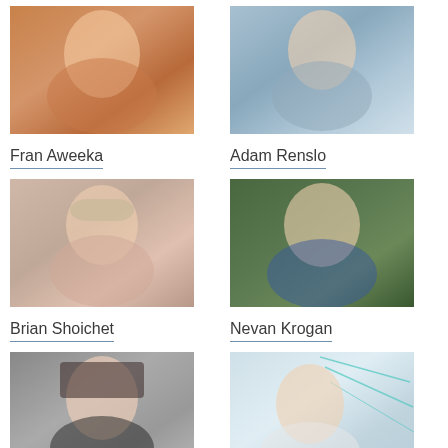[Figure (photo): Portrait photo of Fran Aweeka, woman smiling, brown/orange tones]
Fran Aweeka
[Figure (photo): Portrait photo of Adam Renslo, man smiling, light blue/grey tones]
Adam Renslo
[Figure (photo): Portrait photo of Brian Shoichet, man with glasses and cap, salmon shirt]
Brian Shoichet
[Figure (photo): Portrait photo of Nevan Krogan, man with beard and glasses, blue jacket]
Nevan Krogan
[Figure (photo): Portrait photo of woman with dark hair, black top, smiling]
[Figure (photo): Portrait photo of man in white shirt in front of whiteboard with diagrams]